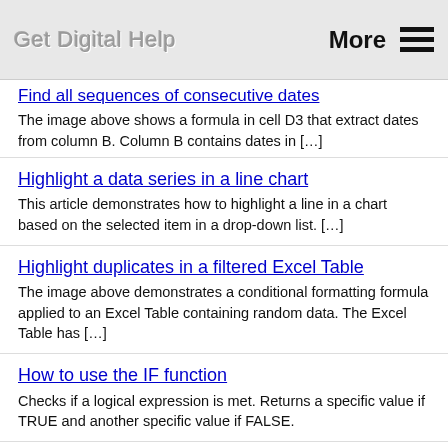Get Digital Help  More ☰
Find all sequences of consecutive dates
The image above shows a formula in cell D3 that extract dates from column B. Column B contains dates in […]
Highlight a data series in a line chart
This article demonstrates how to highlight a line in a chart based on the selected item in a drop-down list. […]
Highlight duplicates in a filtered Excel Table
The image above demonstrates a conditional formatting formula applied to an Excel Table containing random data. The Excel Table has […]
How to use the IF function
Checks if a logical expression is met. Returns a specific value if TRUE and another specific value if FALSE.
Convert array formula to a regular formula
This article explains how to avoid array formulas if needed. It won't work with all array formulas, however…